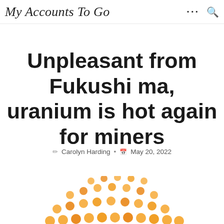My Accounts To Go
Unpleasant from Fukushima, uranium is hot again for miners
Carolyn Harding • May 20, 2022
[Figure (illustration): Semi-circular arrangement of orange/amber circular dots forming an arc pattern, resembling a uranium or atomic symbol illustration]